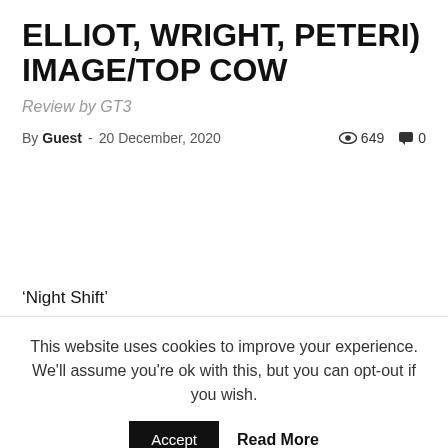ELLIOT, WRIGHT, PETERI) IMAGE/TOP COW
Review by GT3
By Guest - 20 December, 2020   649   0
‘Night Shift’
This website uses cookies to improve your experience. We'll assume you're ok with this, but you can opt-out if you wish.
Accept   Read More